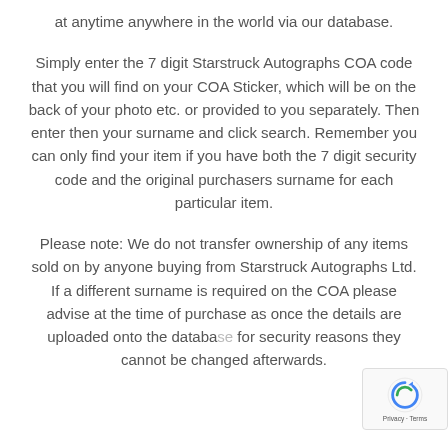at anytime anywhere in the world via our database.
Simply enter the 7 digit Starstruck Autographs COA code that you will find on your COA Sticker, which will be on the back of your photo etc. or provided to you separately. Then enter then your surname and click search. Remember you can only find your item if you have both the 7 digit security code and the original purchasers surname for each particular item.
Please note: We do not transfer ownership of any items sold on by anyone buying from Starstruck Autographs Ltd. If a different surname is required on the COA please advise at the time of purchase as once the details are uploaded onto the database for security reasons they cannot be changed afterwards.